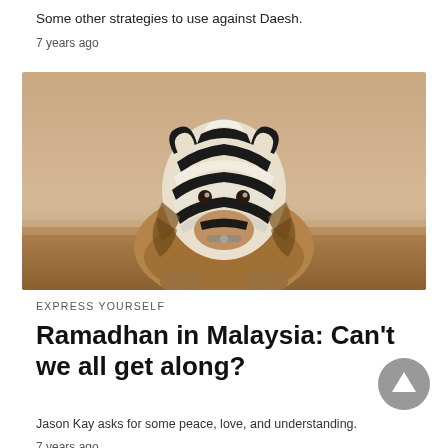Some other strategies to use against Daesh.
7 years ago
[Figure (photo): A lion with a zebra-striped mane, or a zebra with lion-like body features, set against a warm sandy background. The image shows an animal with black and white stripes on its head/mane area and brown/tawny body, appearing to be a composite or novelty image.]
EXPRESS YOURSELF
Ramadhan in Malaysia: Can't we all get along?
Jason Kay asks for some peace, love, and understanding.
7 years ago